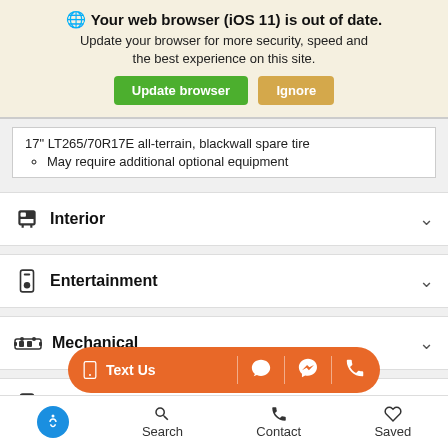🌐 Your web browser (iOS 11) is out of date. Update your browser for more security, speed and the best experience on this site.
17" LT265/70R17E all-terrain, blackwall spare tire
  ◦ May require additional optional equipment
Interior
Entertainment
Mechanical
Safety
Text Us
Search   Contact   Saved